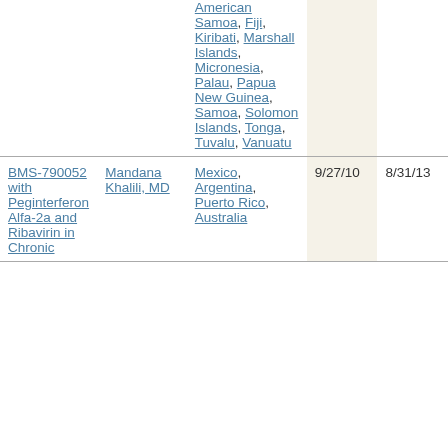| Study | Investigator | Countries | Col4 | Col5 |
| --- | --- | --- | --- | --- |
|  |  | American Samoa, Fiji, Kiribati, Marshall Islands, Micronesia, Palau, Papua New Guinea, Samoa, Solomon Islands, Tonga, Tuvalu, Vanuatu |  |  |
| BMS-790052 with Peginterferon Alfa-2a and Ribavirin in Chronic | Mandana Khalili, MD | Mexico, Argentina, Puerto Rico, Australia | 9/27/10 | 8/31/13 |